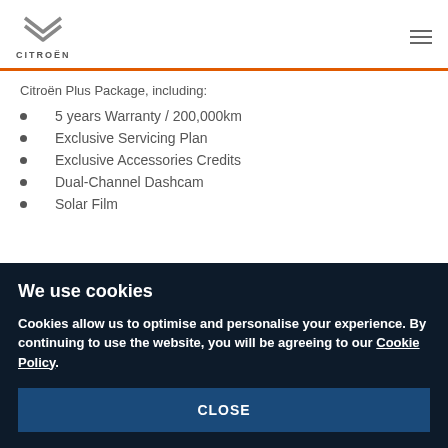Citroën logo and navigation
Citroën Plus Package, including:
5 years Warranty / 200,000km
Exclusive Servicing Plan
Exclusive Accessories Credits
Dual-Channel Dashcam
Solar Film
We use cookies
Cookies allow us to optimise and personalise your experience. By continuing to use the website, you will be agreeing to our Cookie Policy.
CLOSE